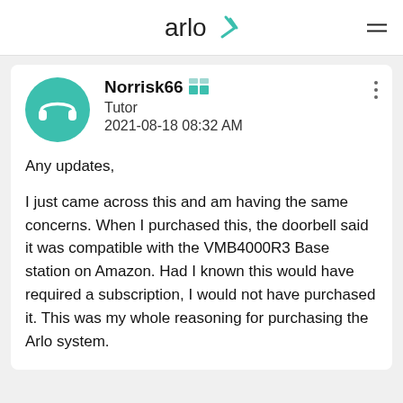arlo
[Figure (screenshot): Arlo community forum post by user Norrisk66 (Tutor), dated 2021-08-18 08:32 AM, with a teal avatar showing headphones icon and a rank badge.]
Any updates,

I just came across this and am having the same concerns. When I purchased this, the doorbell said it was compatible with the VMB4000R3 Base station on Amazon. Had I known this would have required a subscription, I would not have purchased it. This was my whole reasoning for purchasing the Arlo system.